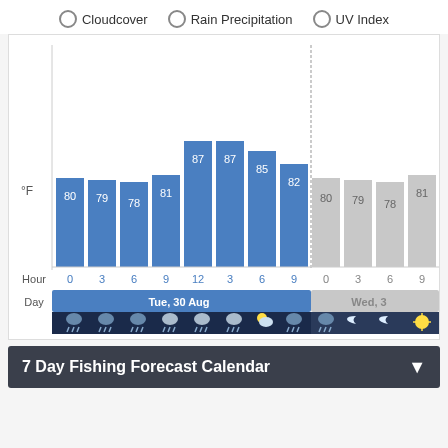[Figure (bar-chart): Temperature Forecast]
Cloudcover   Rain Precipitation   UV Index
7 Day Fishing Forecast Calendar